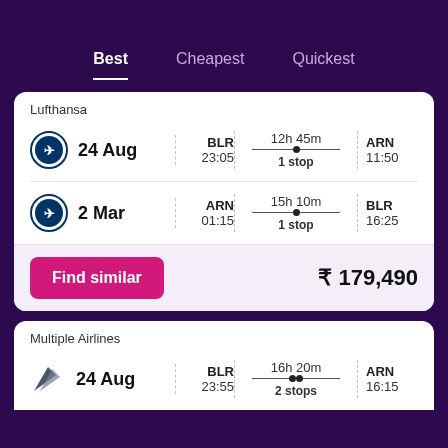Best  Cheapest  Quickest
Lufthansa
24 Aug  BLR 23:05  12h 45m 1 stop  ARN 11:50
2 Mar  ARN 01:15  15h 10m 1 stop  BLR 16:25
Find similar  ₹ 179,490
Multiple Airlines
24 Aug  BLR 23:55  16h 20m 2 stops  ARN 16:15